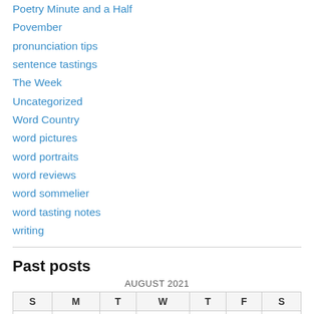Poetry Minute and a Half
Povember
pronunciation tips
sentence tastings
The Week
Uncategorized
Word Country
word pictures
word portraits
word reviews
word sommelier
word tasting notes
writing
Past posts
| S | M | T | W | T | F | S |
| --- | --- | --- | --- | --- | --- | --- |
| 1 | 2 | 3 | 4 | 5 | 6 | 7 |